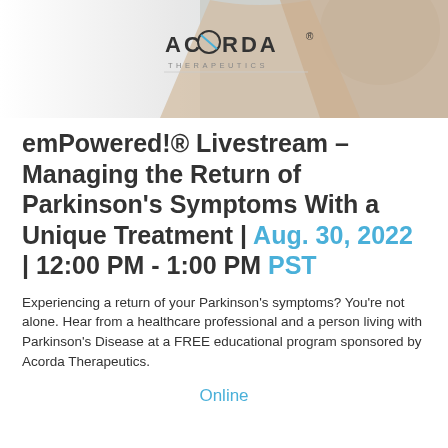[Figure (photo): Acorda Therapeutics logo and header image showing a person's torso/arms in beige clothing on a light blue/gray background]
emPowered!® Livestream – Managing the Return of Parkinson's Symptoms With a Unique Treatment | Aug. 30, 2022 | 12:00 PM - 1:00 PM PST
Experiencing a return of your Parkinson's symptoms? You're not alone. Hear from a healthcare professional and a person living with Parkinson's Disease at a FREE educational program sponsored by Acorda Therapeutics.
Online